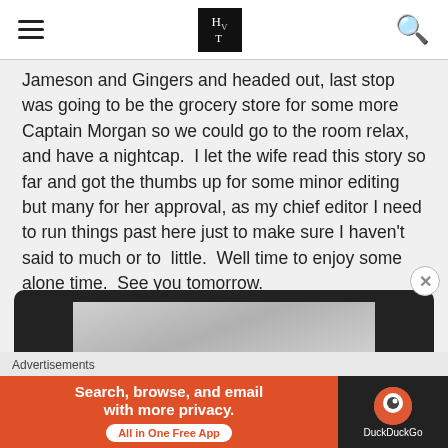HVT logo with hamburger menu and search icon
Jameson and Gingers and headed out, last stop was going to be the grocery store for some more Captain Morgan so we could go to the room relax, and have a nightcap.  I let the wife read this story so far and got the thumbs up for some minor editing but many for her approval, as my chief editor I need to run things past here just to make sure I haven't said to much or to  little.  Well time to enjoy some alone time.  See you tomorrow.
[Figure (screenshot): Embedded video player with dark border, showing a grey sky image in the center panel]
Advertisements
[Figure (screenshot): DuckDuckGo advertisement banner: orange background with text 'Search, browse, and email with more privacy. All in One Free App' and DuckDuckGo logo on dark right side]